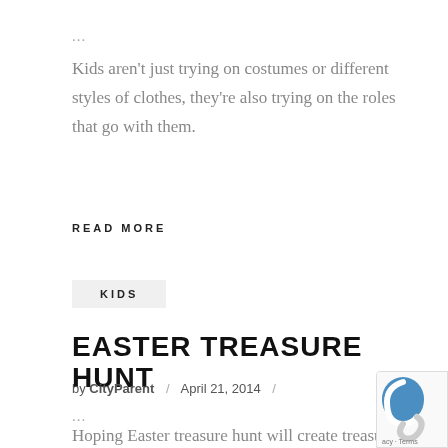...
Kids aren't just trying on costumes or different styles of clothes, they're also trying on the roles that go with them.
READ MORE
KIDS
EASTER TREASURE HUNT
by CityParent / April 21, 2014 /
...
Hoping Easter treasure hunt will create treasured memories.